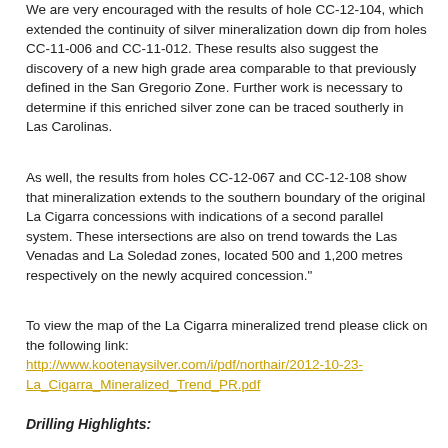We are very encouraged with the results of hole CC-12-104, which extended the continuity of silver mineralization down dip from holes CC-11-006 and CC-11-012. These results also suggest the discovery of a new high grade area comparable to that previously defined in the San Gregorio Zone. Further work is necessary to determine if this enriched silver zone can be traced southerly in Las Carolinas.
As well, the results from holes CC-12-067 and CC-12-108 show that mineralization extends to the southern boundary of the original La Cigarra concessions with indications of a second parallel system. These intersections are also on trend towards the Las Venadas and La Soledad zones, located 500 and 1,200 metres respectively on the newly acquired concession."
To view the map of the La Cigarra mineralized trend please click on the following link: http://www.kootenaysilver.com/i/pdf/northair/2012-10-23-La_Cigarra_Mineralized_Trend_PR.pdf
Drilling Highlights: